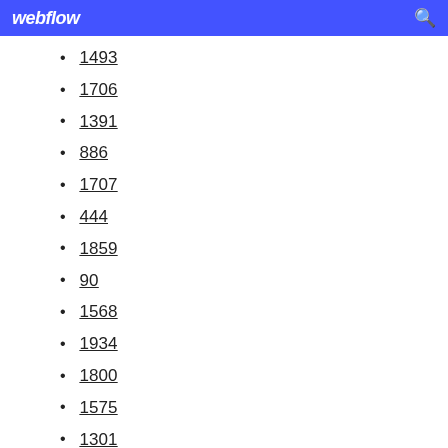webflow
1493
1706
1391
886
1707
444
1859
90
1568
1934
1800
1575
1301